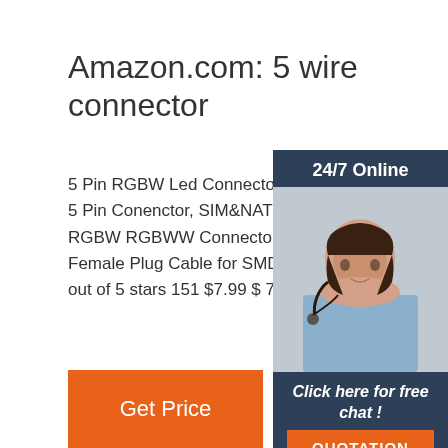Amazon.com: 5 wire connector
5 Pin RGBW Led Connector Extension Wi 5 Pin Conenctor, SIM&NAT 15 cm 5.9 inch RGBW RGBWW Connector Plug Weld Lin Female Plug Cable for SMD 5050 Led Stri out of 5 stars 151 $7.99 $ 7 . 99
[Figure (other): Orange 'Get Price' button]
[Figure (other): Sidebar with '24/7 Online' header, customer service representative photo, 'Click here for free chat!' text, and orange 'QUOTATION' button]